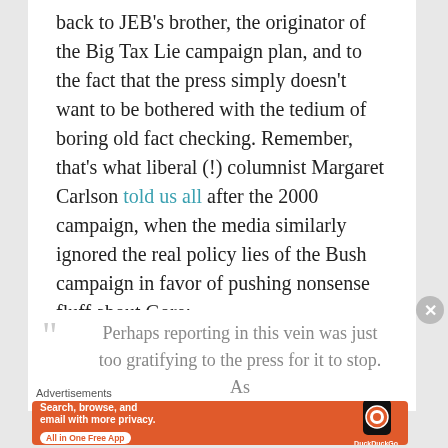back to JEB's brother, the originator of the Big Tax Lie campaign plan, and to the fact that the press simply doesn't want to be bothered with the tedium of boring old fact checking. Remember, that's what liberal (!) columnist Margaret Carlson told us all after the 2000 campaign, when the media similarly ignored the real policy lies of the Bush campaign in favor of pushing nonsense fluff about Gore:
Perhaps reporting in this vein was just too gratifying to the press for it to stop. As
Advertisements
[Figure (screenshot): DuckDuckGo advertisement banner: orange background with white text 'Search, browse, and email with more privacy. All in One Free App' and DuckDuckGo logo with phone image]